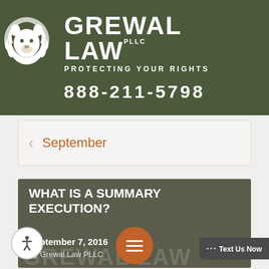[Figure (logo): Grewal Law PLLC logo — white lion head silhouette with firm name 'GREWAL LAW PLLC' and tagline 'PROTECTING YOUR RIGHTS' on dark olive green background, phone number 888-211-5798]
September
WHAT IS A SUMMARY EXECUTION?
September 7, 2016
By Grewal Law PLLC